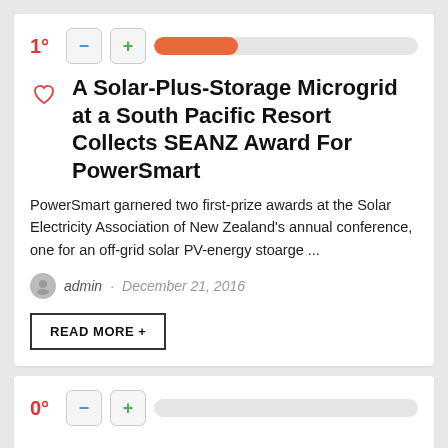1°
A Solar-Plus-Storage Microgrid at a South Pacific Resort Collects SEANZ Award For PowerSmart
PowerSmart garnered two first-prize awards at the Solar Electricity Association of New Zealand's annual conference, one for an off-grid solar PV-energy stoarge ...
admin · December 21, 2016
READ MORE +
0°